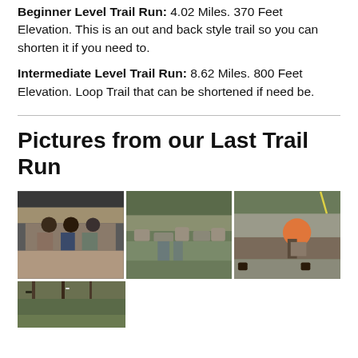Beginner Level Trail Run: 4.02 Miles. 370 Feet Elevation. This is an out and back style trail so you can shorten it if you need to.
Intermediate Level Trail Run: 8.62 Miles. 800 Feet Elevation. Loop Trail that can be shortened if need be.
Pictures from our Last Trail Run
[Figure (photo): Three people standing under a bridge/overhang on a trail]
[Figure (photo): Rocky creek/stream in a forested area with people visible]
[Figure (photo): Person bending down near rocks and water on a trail]
[Figure (photo): Forest trail scene with trees and path]